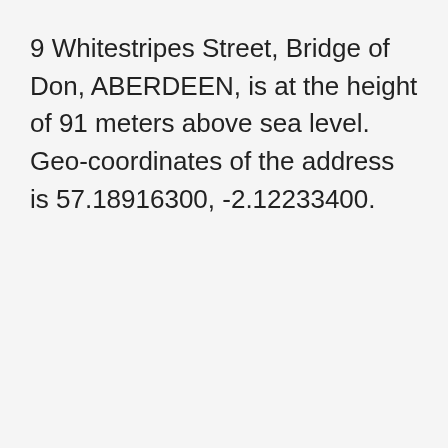9 Whitestripes Street, Bridge of Don, ABERDEEN, is at the height of 91 meters above sea level. Geo-coordinates of the address is 57.18916300, -2.12233400.